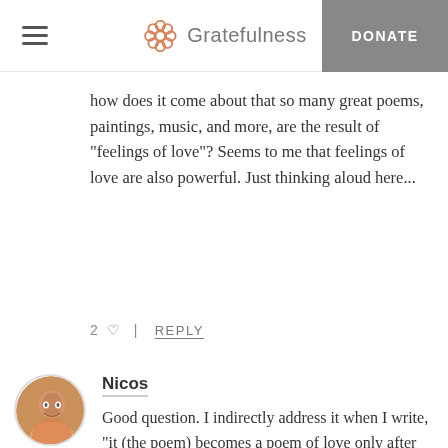Gratefulness | DONATE
how does it come about that so many great poems, paintings, music, and more, are the result of “feelings of love”? Seems to me that feelings of love are also powerful. Just thinking aloud here...
2 ♡ | REPLY
Nicos
Good question. I indirectly address it when I write, “it (the poem) becomes a poem of love only after the poet becomes engaged in loving acts – not before.” The